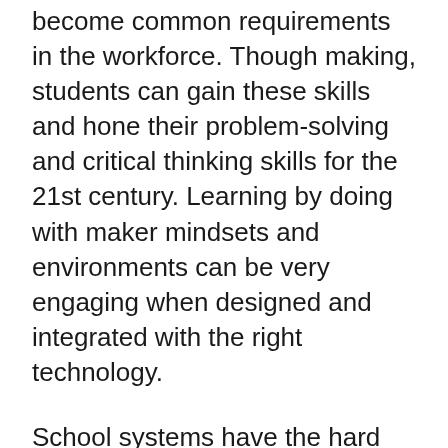become common requirements in the workforce. Though making, students can gain these skills and hone their problem-solving and critical thinking skills for the 21st century. Learning by doing with maker mindsets and environments can be very engaging when designed and integrated with the right technology.
School systems have the hard decision of choosing devices and technology models that will help achieve their visions of transforming learning. Device decisions should be made by working with multiple stakeholders and evaluating how educators and students use the devices for day-to-day learning. Stakeholders should take into account appropriate grade-level curriculum, content